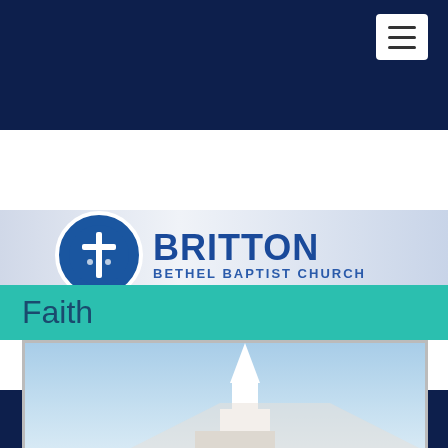[Figure (screenshot): Dark navy navigation bar with hamburger menu icon (three horizontal lines) in a white rounded rectangle at top right]
[Figure (logo): Britton Bethel Baptist Church logo: circular blue emblem with white cross and figures, next to bold text 'BRITTON' and subtitle 'BETHEL BAPTIST CHURCH' on a silver/grey gradient banner]
[Figure (screenshot): Dark navy social media bar with YouTube, Facebook, and Twitter icons]
Faith
[Figure (photo): Photo of a white church steeple against a blue sky, viewed from below at an angle]